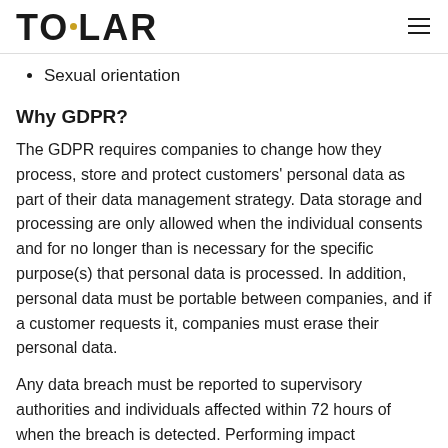TOLAR
Sexual orientation
Why GDPR?
The GDPR requires companies to change how they process, store and protect customers' personal data as part of their data management strategy. Data storage and processing are only allowed when the individual consents and for no longer than is necessary for the specific purpose(s) that personal data is processed. In addition, personal data must be portable between companies, and if a customer requests it, companies must erase their personal data.
Any data breach must be reported to supervisory authorities and individuals affected within 72 hours of when the breach is detected. Performing impact assessments is another